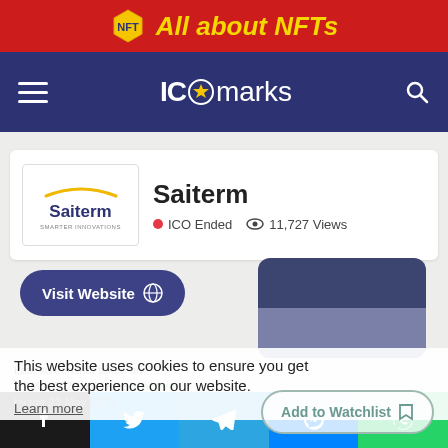All about NFTs
[Figure (screenshot): ICOmarks website navigation bar with hamburger menu, ICOmarks logo with star, and search icon on dark blue background]
Saiterm
ICO Ended  11,727 Views
Visit Website
[Figure (screenshot): Website screenshot thumbnail showing Saiterm website preview]
Last screenshot taken on 25 Mar 2020. Website is active by the 23 May 2021
This website uses cookies to ensure you get the best experience on our website.
Learn more
Add to Watchlist
Facebook Twitter Telegram Messenger WhatsApp